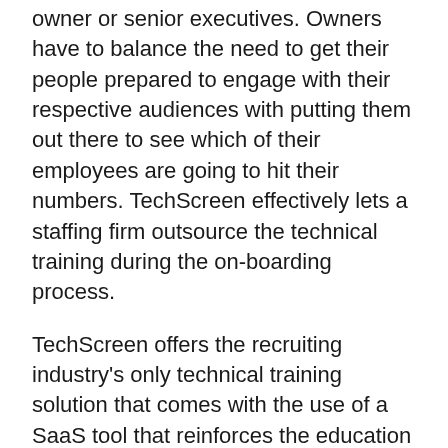owner or senior executives. Owners have to balance the need to get their people prepared to engage with their respective audiences with putting them out there to see which of their employees are going to hit their numbers. TechScreen effectively lets a staffing firm outsource the technical training during the on-boarding process.
TechScreen offers the recruiting industry's only technical training solution that comes with the use of a SaaS tool that reinforces the education delivered by the training. The curriculum covers topics like Application architecture, Networking, Databases, REST and Web Services, The Cloud, DevOps and InfoSec and breaks down advanced technical concepts in a way that makes it easy for a non-technical person to grasp them so they can be used to qualify candidates and requirements.